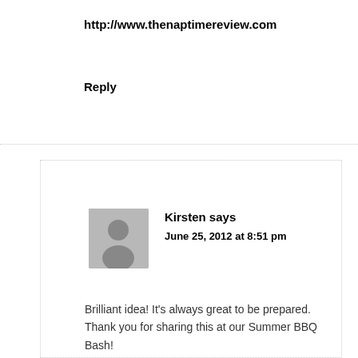http://www.thenaptimereview.com
Reply
Kirsten says
June 25, 2012 at 8:51 pm
[Figure (illustration): Generic user avatar placeholder showing silhouette of a person, gray background]
Brilliant idea! It's always great to be prepared. Thank you for sharing this at our Summer BBQ Bash!